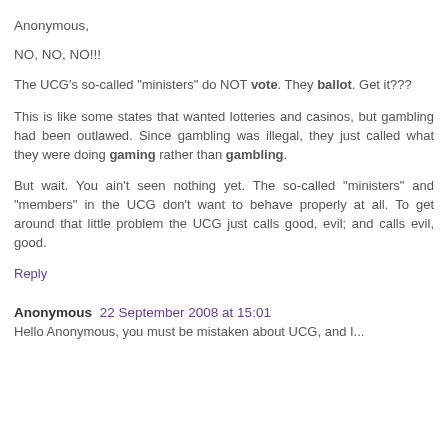Anonymous,
NO, NO, NO!!!
The UCG's so-called "ministers" do NOT vote. They ballot. Get it???
This is like some states that wanted lotteries and casinos, but gambling had been outlawed. Since gambling was illegal, they just called what they were doing gaming rather than gambling.
But wait. You ain't seen nothing yet. The so-called "ministers" and "members" in the UCG don't want to behave properly at all. To get around that little problem the UCG just calls good, evil; and calls evil, good.
Reply
Anonymous 22 September 2008 at 15:01
Hello Anonymous, you must be mistaken about UCG, and I...